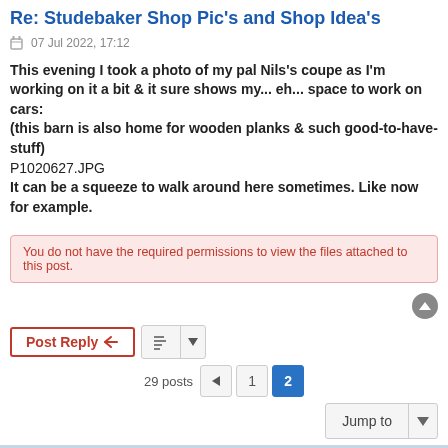Re: Studebaker Shop Pic's and Shop Idea's
07 Jul 2022, 17:12
This evening I took a photo of my pal Nils's coupe as I'm working on it a bit & it sure shows my... eh... space to work on cars:
(this barn is also home for wooden planks & such good-to-have-stuff)
P1020627.JPG
It can be a squeeze to walk around here sometimes. Like now for example.
You do not have the required permissions to view the files attached to this post.
Powered by phpBB® Forum Software © phpBB Limited
Privacy | Terms